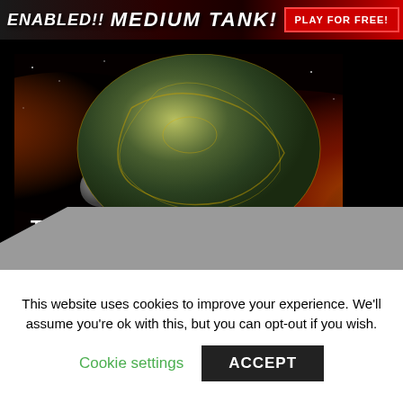[Figure (screenshot): Advertisement banner at top showing 'ENABLED!!' on left, 'MEDIUM TANK!' in center, and 'PLAY FOR FREE!' button on right, with dark red and black background]
[Figure (photo): Planet Taris from Star Wars: The Old Republic - a large green-yellow planet with glowing city lines on its surface, with a smaller moon, set against a fiery red nebula background. Text 'TARIS' in white bold on lower left and 'RISE of the MANDALORIANS' logo on lower right.]
Planets of Star Wars: The Old Republic — Taris
This website uses cookies to improve your experience. We'll assume you're ok with this, but you can opt-out if you wish.
Cookie settings   ACCEPT